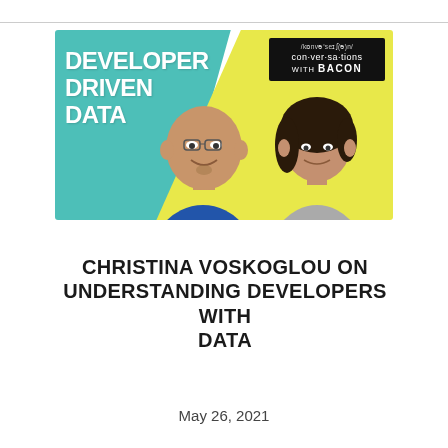[Figure (illustration): Podcast banner for 'Conversations with Bacon' episode titled 'Developer Driven Data'. Teal and yellow background with two people (man in blue shirt, woman in grey shirt). Black box in top-right corner reads '/kɒnvəˈseɪʃ(ə)n/ con·ver·sa·tions WITH BACON'.]
CHRISTINA VOSKOGLOU ON UNDERSTANDING DEVELOPERS WITH DATA
May 26, 2021